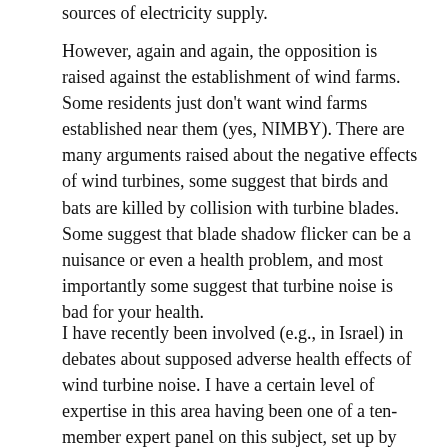sources of electricity supply.
However, again and again, the opposition is raised against the establishment of wind farms. Some residents just don't want wind farms established near them (yes, NIMBY). There are many arguments raised about the negative effects of wind turbines, some suggest that birds and bats are killed by collision with turbine blades. Some suggest that blade shadow flicker can be a nuisance or even a health problem, and most importantly some suggest that turbine noise is bad for your health.
I have recently been involved (e.g., in Israel) in debates about supposed adverse health effects of wind turbine noise. I have a certain level of expertise in this area having been one of a ten-member expert panel on this subject, set up by the Council of Canadian Academies at the request of the Canadian Minister of Health. The panel consisted of engineers, audiologists, occupational health experts, and